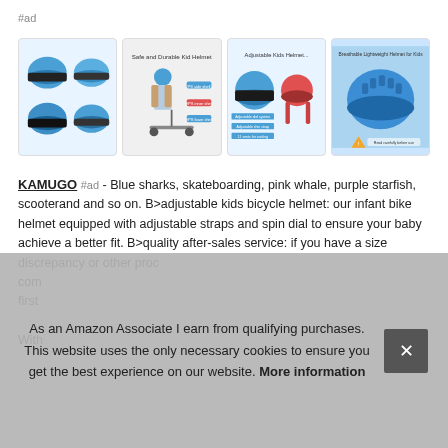#ad
[Figure (photo): Four product images of blue kids bicycle helmets in a row. First shows multiple helmet angles on white background, second shows a child wearing helmet on scooter with text 'Safe and Durable Kid Helmet', third shows helmet diagram with text 'Adjustable Kids Helmet', fourth shows helmet on blue background with text 'Breathable Lightweight Helmet for Kids'.]
KAMUGO #ad - Blue sharks, skateboarding, pink whale, purple starfish, scooterand and so on. B>adjustable kids bicycle helmet: our infant bike helmet equipped with adjustable straps and spin dial to ensure your baby achieve a better fit. B>quality after-sales service: if you have a size discrepancy or other proc... con... first...
As an Amazon Associate I earn from qualifying purchases. This website uses the only necessary cookies to ensure you get the best experience on our website. More information